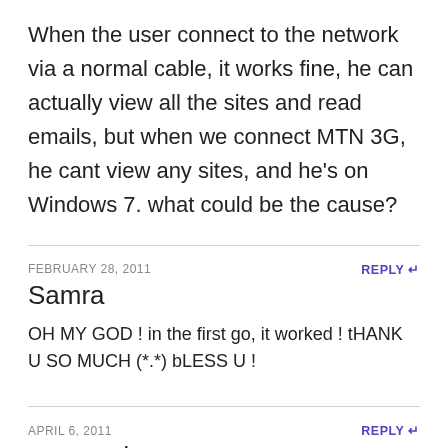When the user connect to the network via a normal cable, it works fine, he can actually view all the sites and read emails, but when we connect MTN 3G, he cant view any sites, and he's on Windows 7. what could be the cause?
FEBRUARY 28, 2011
REPLY
Samra
OH MY GOD ! in the first go, it worked ! tHANK U SO MUCH (*.*) bLESS U !
APRIL 6, 2011
REPLY
raymond
thank you so much,i wasted hours reading those damm